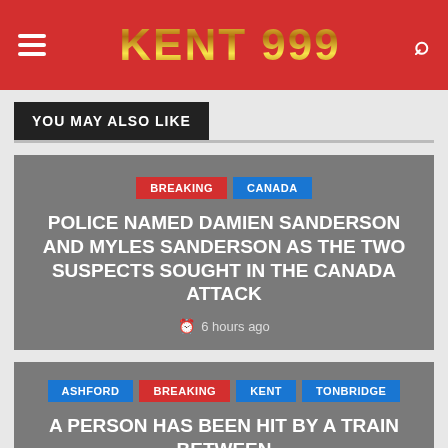KENT 999
YOU MAY ALSO LIKE
POLICE NAMED DAMIEN SANDERSON AND MYLES SANDERSON AS THE TWO SUSPECTS SOUGHT IN THE CANADA ATTACK
6 hours ago
A PERSON HAS BEEN HIT BY A TRAIN BETWEEN